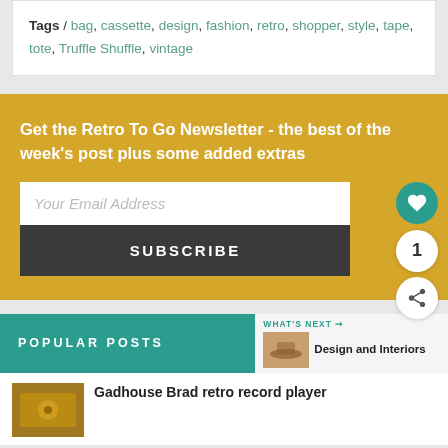Tags / bag, cassette, design, fashion, retro, shopper, style, tape, tote, Truffle Shuffle, vintage
Get the Retro To Go Newsletter - the best of the week's post plus some added extras
Your Email Address
SUBSCRIBE
POPULAR POSTS
WHAT'S NEXT → Design and Interiors
Gadhouse Brad retro record player